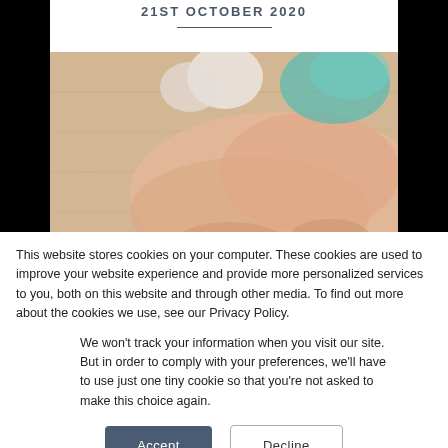21ST OCTOBER 2020
[Figure (photo): Blurred photo of hands on a wooden surface with a blurred turquoise/teal container and white objects in the background]
This website stores cookies on your computer. These cookies are used to improve your website experience and provide more personalized services to you, both on this website and through other media. To find out more about the cookies we use, see our Privacy Policy.
We won't track your information when you visit our site. But in order to comply with your preferences, we'll have to use just one tiny cookie so that you're not asked to make this choice again.
Accept  Decline